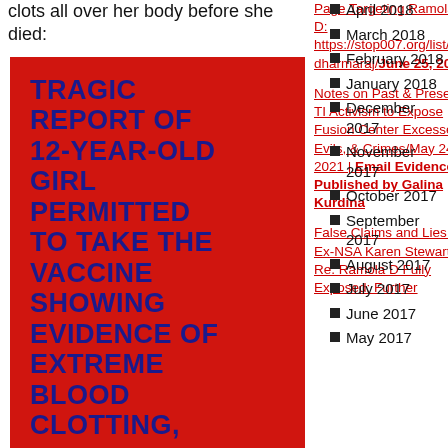clots all over her body before she died:
[Figure (other): Red background box with bold dark blue text: TRAGIC REPORT OF 12-YEAR-OLD GIRL PERMITTED TO TAKE THE VACCINE SHOWING EVIDENCE OF EXTREME BLOOD CLOTTING,]
Page Targeting Ramola D: https://stop007.org/list/ramola-dharmaraj/ June 25, 2021
Notes on Past & Present TI Activism to Expose Fusion Center Excesses, Evils, & Crimes/May 24, 2021 | Email Evidence Published by Galina Kurdina
False Claims and Lies by Ex-NSA Karen Stewart Re. Ramola D Fully Exposed: Further
April 2018
March 2018
February 2018
January 2018
December 2017
November 2017
October 2017
September 2017
August 2017
July 2017
June 2017
May 2017